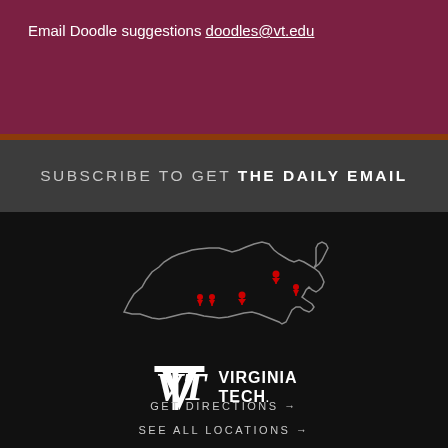Email Doodle suggestions doodles@vt.edu
SUBSCRIBE TO GET THE DAILY EMAIL
[Figure (map): Outline map of Virginia with red location pin markers indicating Virginia Tech campus locations]
[Figure (logo): Virginia Tech logo with VT monogram and text VIRGINIA TECH]
GET DIRECTIONS →
SEE ALL LOCATIONS →